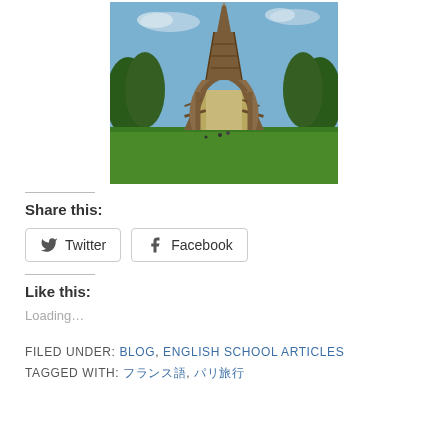[Figure (photo): Photo of the Eiffel Tower viewed from below and in front, with green lawn in the foreground, trees on either side, and blue sky with light clouds above.]
Share this:
Twitter  Facebook
Like this:
Loading…
FILED UNDER: BLOG, ENGLISH SCHOOL ARTICLES
TAGGED WITH: フランス語, パリ旅行